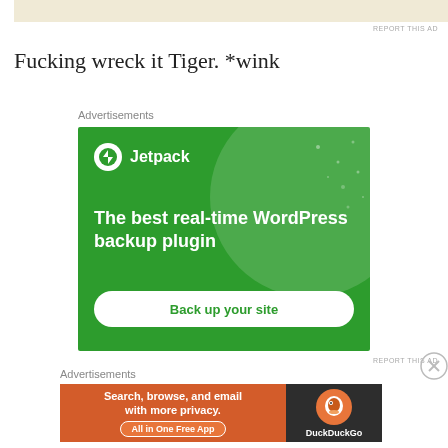[Figure (other): Top advertisement banner strip with beige/tan background]
REPORT THIS AD
Fucking wreck it Tiger. *wink
Advertisements
[Figure (other): Jetpack WordPress plugin advertisement on green background. Shows Jetpack logo, text 'The best real-time WordPress backup plugin', and a 'Back up your site' button.]
REPORT THIS AD
Advertisements
[Figure (other): DuckDuckGo advertisement. Orange left panel: 'Search, browse, and email with more privacy.' with 'All in One Free App' button. Dark right panel with DuckDuckGo logo.]